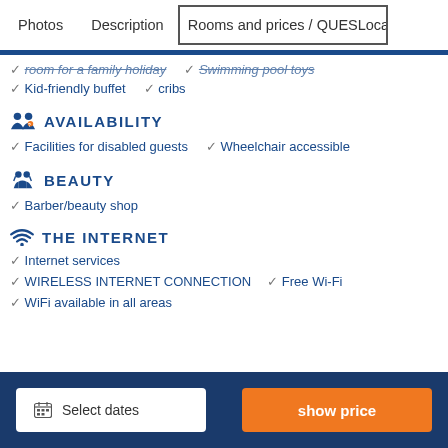Photos  Description  Rooms and prices / QUESTIONS  Local
✓ room for a family holiday  ✓ Swimming pool toys
✓ Kid-friendly buffet  ✓ cribs
AVAILABILITY
✓ Facilities for disabled guests  ✓ Wheelchair accessible
BEAUTY
✓ Barber/beauty shop
THE INTERNET
✓ Internet services
✓ WIRELESS INTERNET CONNECTION  ✓ Free Wi-Fi
✓ WiFi available in all areas